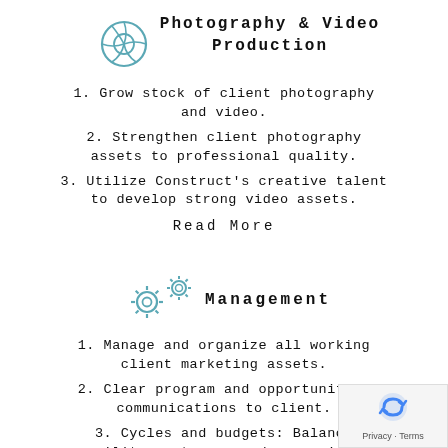[Figure (illustration): Camera shutter / lens icon in teal/blue outline style]
Photography & Video Production
1. Grow stock of client photography and video.
2. Strengthen client photography assets to professional quality.
3. Utilize Construct's creative talent to develop strong video assets.
Read More
[Figure (illustration): Gear/cog icons in teal/blue outline style]
Management
1. Manage and organize all working client marketing assets.
2. Clear program and opportunities communications to client.
3. Cycles and budgets: Balance agility, outcomes and economics.
[Figure (logo): reCAPTCHA privacy badge with Privacy and Terms links]